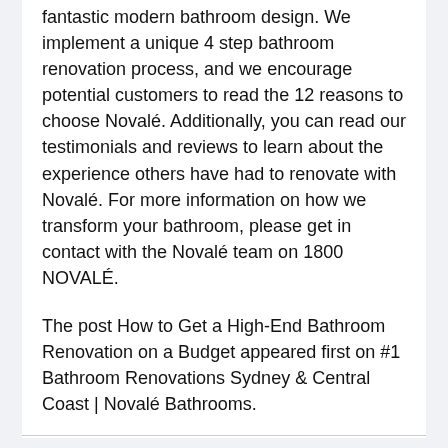fantastic modern bathroom design. We implement a unique 4 step bathroom renovation process, and we encourage potential customers to read the 12 reasons to choose Novalé. Additionally, you can read our testimonials and reviews to learn about the experience others have had to renovate with Novalé. For more information on how we transform your bathroom, please get in contact with the Novalé team on 1800 NOVALÉ.
The post How to Get a High-End Bathroom Renovation on a Budget appeared first on #1 Bathroom Renovations Sydney & Central Coast | Novalé Bathrooms.